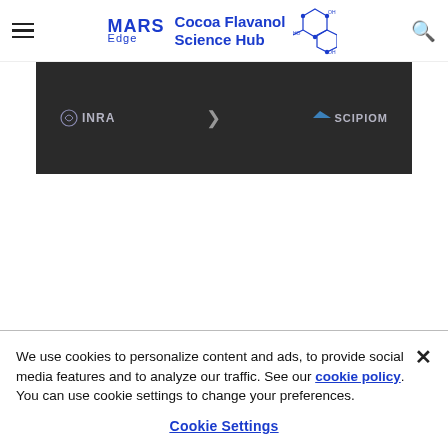MARS Edge | Cocoa Flavanol Science Hub
[Figure (screenshot): Dark banner image showing INRA logo on left and SCIPIOM logo on right against a dark/blurred background]
We use cookies to personalize content and ads, to provide social media features and to analyze our traffic. See our cookie policy. You can use cookie settings to change your preferences.
Cookie Settings